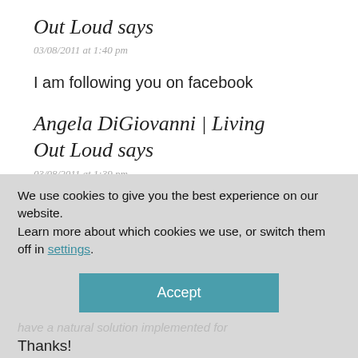Out Loud says
03/08/2011 at 1:40 pm
I am following you on facebook
Angela DiGiovanni | Living Out Loud says
03/08/2011 at 1:39 pm
We use cookies to give you the best experience on our website.
Learn more about which cookies we use, or switch them off in settings.
Accept
have a natural solution implemented for
Thanks!